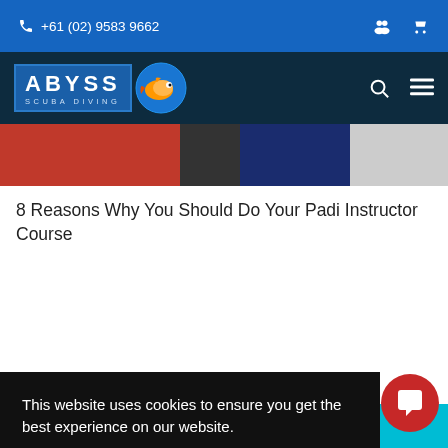+61 (02) 9583 9662
[Figure (logo): Abyss Scuba Diving logo with fish icon]
[Figure (photo): Partial hero image showing red and blue clothing/gear]
8 Reasons Why You Should Do Your Padi Instructor Course
This website uses cookies to ensure you get the best experience on our website.
Learn more
Got it!
[Figure (photo): Partial underwater scuba diving photo on right side]